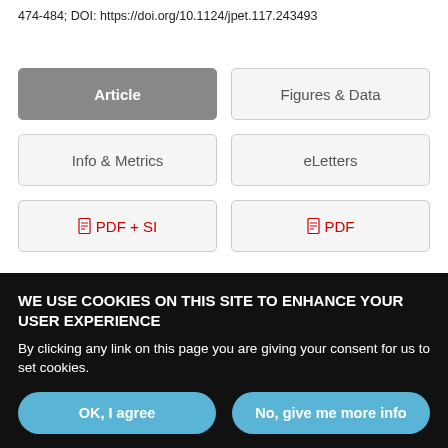474-484; DOI: https://doi.org/10.1124/jpet.117.243493
[Figure (screenshot): Navigation tabs: Article (active/dark), Figures & Data, Info & Metrics, eLetters, PDF + SI, PDF]
Abstract
Despite the efficacy of biologics for treatment of rheumatoid arthritis
WE USE COOKIES ON THIS SITE TO ENHANCE YOUR USER EXPERIENCE

By clicking any link on this page you are giving your consent for us to set cookies.